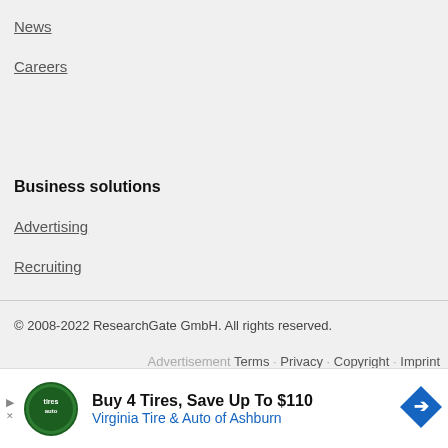News
Careers
Business solutions
Advertising
Recruiting
© 2008-2022 ResearchGate GmbH. All rights reserved.
Advertisement · Terms · Privacy · Copyright · Imprint
[Figure (other): Advertisement banner: Buy 4 Tires, Save Up To $110 - Virginia Tire & Auto of Ashburn]